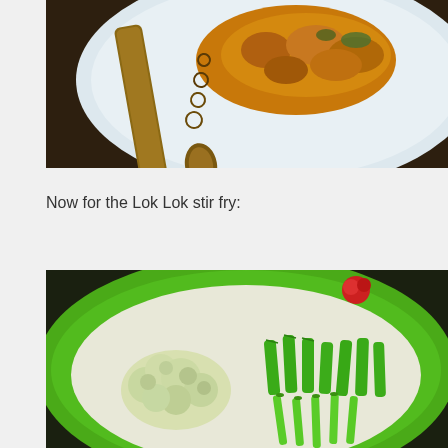[Figure (photo): Close-up photo of a white plate with spiced/curried food and an ornate decorative spoon on a dark brown background]
Now for the Lok Lok stir fry:
[Figure (photo): Photo of a green floral-patterned plate containing fresh vegetables: cauliflower florets, green beans (long beans), and sliced green onions/scallions]